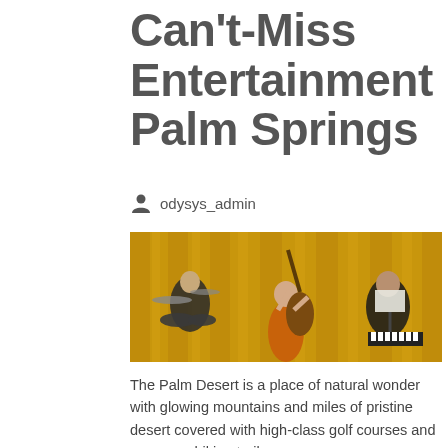Can't-Miss Entertainment in Palm Springs
odysys_admin
[Figure (photo): Three musicians performing on stage in front of a gold/yellow curtain. A drummer on the left, a bassist in an orange outfit in the center holding an upright bass, and a pianist on the right reading sheet music.]
The Palm Desert is a place of natural wonder with glowing mountains and miles of pristine desert covered with high-class golf courses and gorgeous hiking trails.